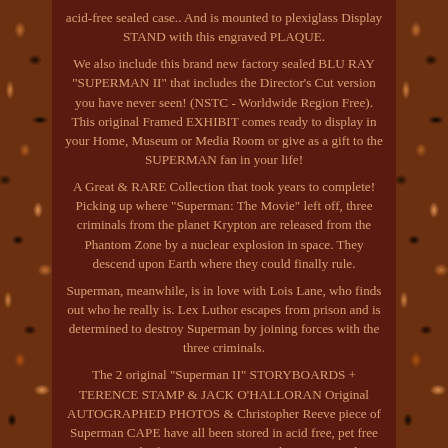acid-free sealed case.. And is mounted to plexiglass Display STAND with this engraved PLAQUE.
We also include this brand new factory sealed BLU RAY "SUPERMAN II" that includes the Director's Cut version you have never seen! (NSTC - Worldwide Region Free). This original Framed EXHIBIT comes ready to display in your Home, Museum or Media Room or give as a gift to the SUPERMAN fan in your life!
A Great & RARE Collection that took years to complete! Picking up where "Superman: The Movie" left off, three criminals from the planet Krypton are released from the Phantom Zone by a nuclear explosion in space. They descend upon Earth where they could finally rule.
Superman, meanwhile, is in love with Lois Lane, who finds out who he really is. Lex Luthor escapes from prison and is determined to destroy Superman by joining forces with the three criminals.
The 2 original "Superman II" STORYBOARDS + TERENCE STAMP & JACK O'HALLORAN Original AUTOGRAPHED PHOTOS & Christopher Reeve piece of Superman CAPE have all been stored in acid free, pet free cases in a smoke free environment since being acquired. Our Photos are included as part of our ad description